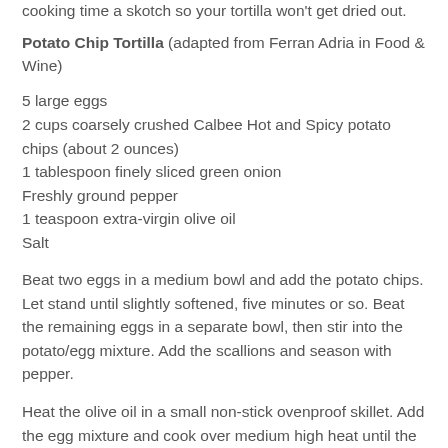cooking time a skotch so your tortilla won't get dried out.
Potato Chip Tortilla (adapted from Ferran Adria in Food & Wine)
5 large eggs
2 cups coarsely crushed Calbee Hot and Spicy potato chips (about 2 ounces)
1 tablespoon finely sliced green onion
Freshly ground pepper
1 teaspoon extra-virgin olive oil
Salt
Beat two eggs in a medium bowl and add the potato chips. Let stand until slightly softened, five minutes or so. Beat the remaining eggs in a separate bowl, then stir into the potato/egg mixture. Add the scallions and season with pepper.
Heat the olive oil in a small non-stick ovenproof skillet. Add the egg mixture and cook over medium high heat until the bottom is golden brown, about 3 minutes. Broil for about 2